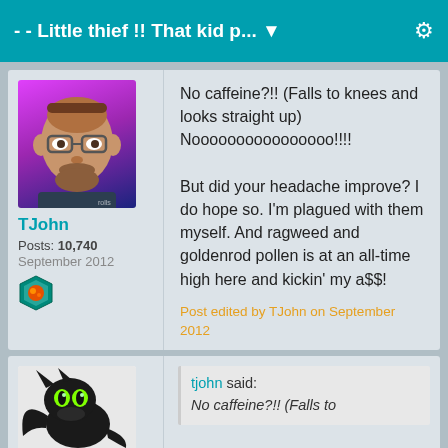- - Little thief !! That kid p... ▼
TJohn
Posts: 10,740
September 2012
No caffeine?!! (Falls to knees and looks straight up) Noooooooooooooooo!!!!

But did your headache improve? I do hope so. I'm plagued with them myself. And ragweed and goldenrod pollen is at an all-time high here and kickin' my a$$!
Post edited by TJohn on September 2012
tjohn said:
No caffeine?!! (Falls to